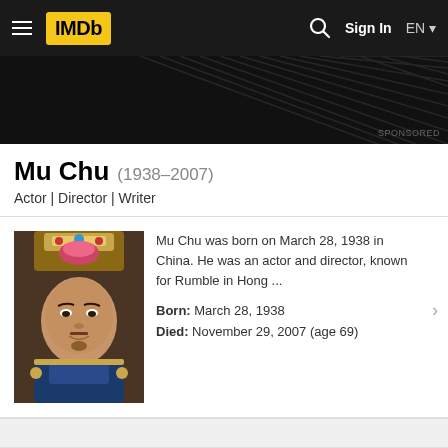IMDb — Sign In — EN
[Figure (screenshot): Dark ad banner with diagonal stripe texture and SPONSORED label]
Mu Chu (1938–2007)
Actor | Director | Writer
[Figure (photo): Portrait photo of Mu Chu in costume with decorative headdress]
Mu Chu was born on March 28, 1938 in China. He was an actor and director, known for Rumble in Hong ...

Born: March 28, 1938
Died: November 29, 2007 (age 69)
Filmography
Known For    Actor